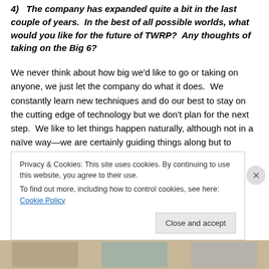4)  The company has expanded quite a bit in the last couple of years.  In the best of all possible worlds, what would you like for the future of TWRP?  Any thoughts of taking on the Big 6?
We never think about how big we'd like to go or taking on anyone, we just let the company do what it does.  We constantly learn new techniques and do our best to stay on the cutting edge of technology but we don't plan for the next step.  We like to let things happen naturally, although not in a naïve way—we are certainly guiding things along but to expect it to do this or that isn't what we do.
Privacy & Cookies: This site uses cookies. By continuing to use this website, you agree to their use.
To find out more, including how to control cookies, see here: Cookie Policy